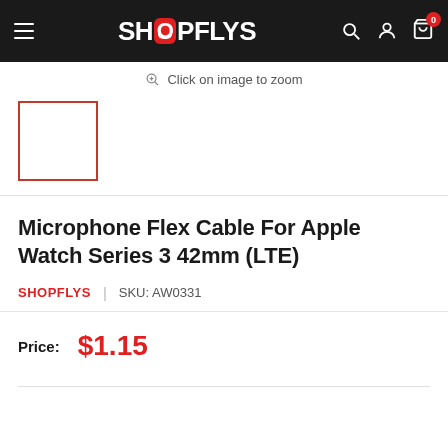SHOPFLYS — navigation header with hamburger menu, logo, search, account, and cart icons
Click on image to zoom
[Figure (photo): Small product thumbnail image placeholder with red border]
Microphone Flex Cable For Apple Watch Series 3 42mm (LTE)
SHOPFLYS  |  SKU: AW0331
Price: $1.15